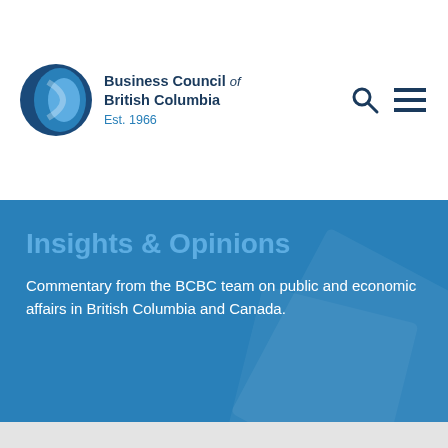[Figure (logo): Business Council of British Columbia logo - circular blue layered sphere icon with text 'Business Council of British Columbia Est. 1966']
Insights & Opinions
Commentary from the BCBC team on public and economic affairs in British Columbia and Canada.